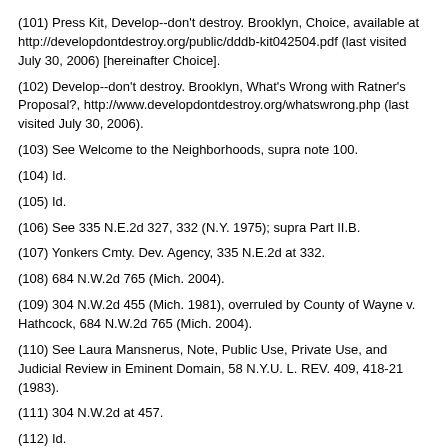(101) Press Kit, Develop--don't destroy. Brooklyn, Choice, available at http://developdontdestroy.org/public/dddb-kit042504.pdf (last visited July 30, 2006) [hereinafter Choice].
(102) Develop--don't destroy. Brooklyn, What's Wrong with Ratner's Proposal?, http://www.developdontdestroy.org/whatswrong.php (last visited July 30, 2006).
(103) See Welcome to the Neighborhoods, supra note 100.
(104) Id.
(105) Id.
(106) See 335 N.E.2d 327, 332 (N.Y. 1975); supra Part II.B.
(107) Yonkers Cmty. Dev. Agency, 335 N.E.2d at 332.
(108) 684 N.W.2d 765 (Mich. 2004).
(109) 304 N.W.2d 455 (Mich. 1981), overruled by County of Wayne v. Hathcock, 684 N.W.2d 765 (Mich. 2004).
(110) See Laura Mansnerus, Note, Public Use, Private Use, and Judicial Review in Eminent Domain, 58 N.Y.U. L. REV. 409, 418-21 (1983).
(111) 304 N.W.2d at 457.
(112) Id.